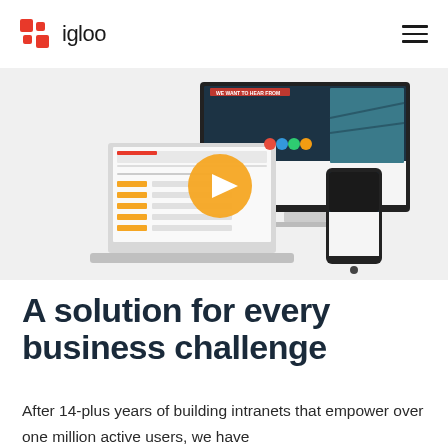igloo
[Figure (screenshot): Screenshot mockup showing igloo intranet software displayed on desktop monitor, laptop, and mobile phone devices with a video play button overlay in the center]
A solution for every business challenge
After 14-plus years of building intranets that empower over one million active users, we have